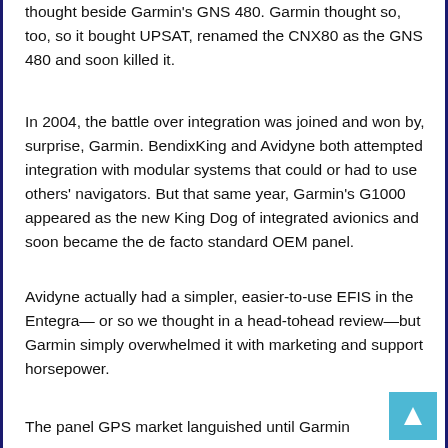thought beside Garmin's GNS 480. Garmin thought so, too, so it bought UPSAT, renamed the CNX80 as the GNS 480 and soon killed it.
In 2004, the battle over integration was joined and won by, surprise, Garmin. BendixKing and Avidyne both attempted integration with modular systems that could or had to use others' navigators. But that same year, Garmin's G1000 appeared as the new King Dog of integrated avionics and soon became the de facto standard OEM panel.
Avidyne actually had a simpler, easier-to-use EFIS in the Entegra— or so we thought in a head-tohead review—but Garmin simply overwhelmed it with marketing and support horsepower.
The panel GPS market languished until Garmin